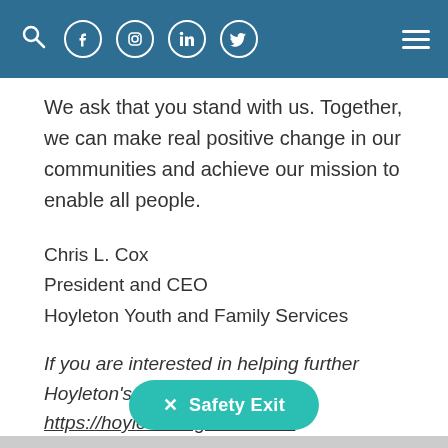Navigation bar with search, Facebook, Instagram, LinkedIn, Twitter icons and hamburger menu
We ask that you stand with us. Together, we can make real positive change in our communities and achieve our mission to enable all people.
Chris L. Cox
President and CEO
Hoyleton Youth and Family Services
If you are interested in helping further Hoyleton's mission, please visit:
https://hoyleton.org/.../donate/